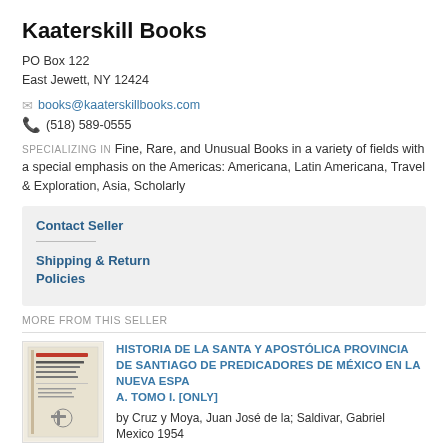Kaaterskill Books
PO Box 122
East Jewett, NY 12424
books@kaaterskillbooks.com
(518) 589-0555
SPECIALIZING IN Fine, Rare, and Unusual Books in a variety of fields with a special emphasis on the Americas: Americana, Latin Americana, Travel & Exploration, Asia, Scholarly
Contact Seller
Shipping & Return Policies
MORE FROM THIS SELLER
[Figure (photo): Book cover thumbnail for Historia de la Santa y Apostolica Provincia de Santiago]
HISTORIA DE LA SANTA Y APOSTÓLICA PROVINCIA DE SANTIAGO DE PREDICADORES DE MÉXICO EN LA NUEVA ESPA A. TOMO I. [ONLY]
by Cruz y Moya, Juan José de la; Saldivar, Gabriel
Mexico 1954
(click for more details)